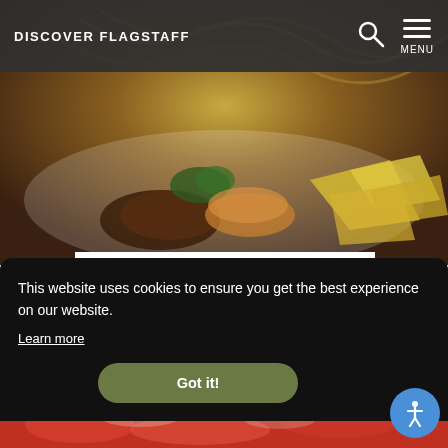DISCOVER FLAGSTAFF
[Figure (photo): Food photo showing street dog/Mexican food with chips, ground meat, and garnish on a white plate]
BOW WOW STREET DOGS AND GRILL
1000 N Humphreys Street, 243
Flagstaff, Arizona 86001
This website uses cookies to ensure you get the best experience on our website.
Learn more
Got it!
[Figure (photo): Bottom strip showing cheesy food item]